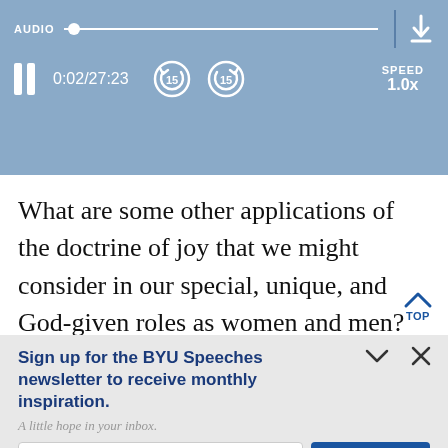[Figure (screenshot): Audio player bar with track progress, pause button, time 0:02/27:23, skip back/forward 15s buttons, speed 1.0x, and download icon]
What are some other applications of the doctrine of joy that we might consider in our special, unique, and God-given roles as women and men? We know that our indiv identities are neither accidental nor unknown
Sign up for the BYU Speeches newsletter to receive monthly inspiration.
A little hope in your inbox.
Enter your email
SUBSCRIBE